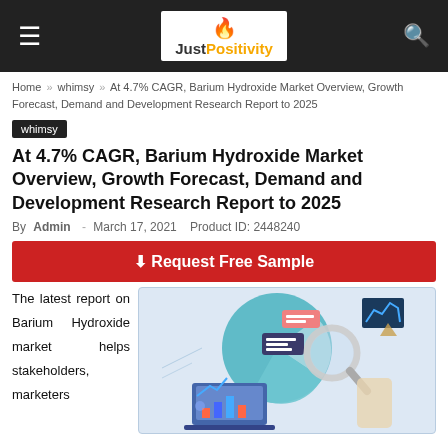JustPositivity
Home » whimsy » At 4.7% CAGR, Barium Hydroxide Market Overview, Growth Forecast, Demand and Development Research Report to 2025
whimsy
At 4.7% CAGR, Barium Hydroxide Market Overview, Growth Forecast, Demand and Development Research Report to 2025
By Admin - March 17, 2021   Product ID: 2448240
⬇ Request Free Sample
The latest report on Barium Hydroxide market helps stakeholders, marketers
[Figure (illustration): Market research illustration showing charts, pie chart, magnifying glass, laptop with bar chart, and a person analyzing data]